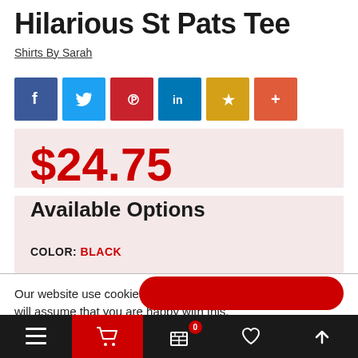Hilarious St Pats Tee
Shirts By Sarah
[Figure (infographic): Social share buttons: Facebook (blue), Twitter (light blue), Pinterest (red), LinkedIn (dark blue), Bookmark/star (gold), Plus/more (orange-red)]
$24.75
Available Options
COLOR:  BLACK
Our website use cookies. If you continue to use this site we will assume that you are happy with this.
More about cookies: www.aboutcookies.org
[Figure (infographic): Bottom navigation bar with menu (hamburger), cart (red background), basket with badge 0, heart/wishlist, and up arrow buttons]